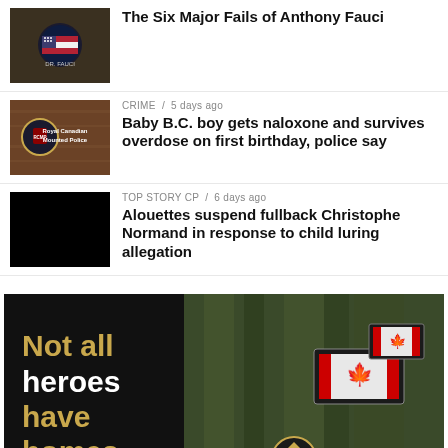[Figure (photo): Thumbnail image of Dr. Fauci with US flag badge overlay]
The Six Major Fails of Anthony Fauci
[Figure (photo): Thumbnail image of Royal Canadian Mounted Police badge on dark wooden background]
CRIME / 5 days ago
Baby B.C. boy gets naloxone and survives overdose on first birthday, police say
[Figure (photo): Black thumbnail image placeholder]
TOP STORY CP / 6 days ago
Alouettes suspend fullback Christophe Normand in response to child luring allegation
[Figure (photo): Advertisement banner showing Canadian military uniform with Canadian flag patch and text 'Not all heroes have homes' with Homes for Heroes logo]